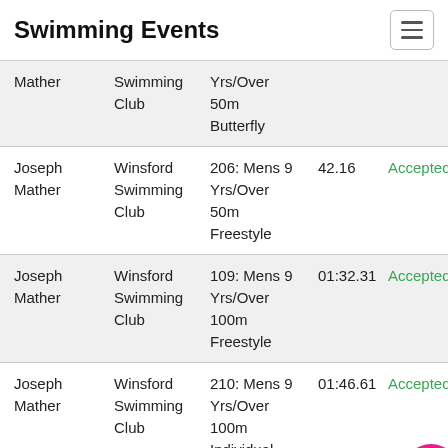Swimming Events
| Name | Club | Event | Time | Status |
| --- | --- | --- | --- | --- |
| Mather | Swimming Club | Yrs/Over 50m Butterfly |  |  |
| Joseph Mather | Winsford Swimming Club | 206: Mens 9 Yrs/Over 50m Freestyle | 42.16 | Accepted |
| Joseph Mather | Winsford Swimming Club | 109: Mens 9 Yrs/Over 100m Freestyle | 01:32.31 | Accepted |
| Joseph Mather | Winsford Swimming Club | 210: Mens 9 Yrs/Over 100m Individual Medley | 01:46.61 | Accepted |